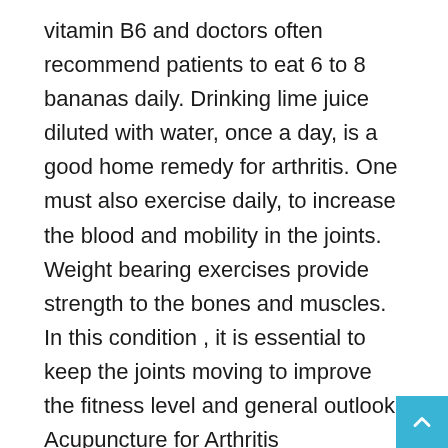vitamin B6 and doctors often recommend patients to eat 6 to 8 bananas daily. Drinking lime juice diluted with water, once a day, is a good home remedy for arthritis. One must also exercise daily, to increase the blood and mobility in the joints. Weight bearing exercises provide strength to the bones and muscles. In this condition , it is essential to keep the joints moving to improve the fitness level and general outlook. Acupuncture for Arthritis Acupuncture can decrease the pain and ease arthritis discomfort. In this form of treatment, thin needles are inserted into specific points of the body to improve health. It is possible to relieve the symptoms of arthritis to a great extent using this therapy. The inserted needles stimulate energy carrying channels and release chemicals that block pain. The inserted needles are sometimes energized electrically to increase the effect of the treatment. Complimentary therapies listed above for arthritis are increasingly becoming very popular, as they c